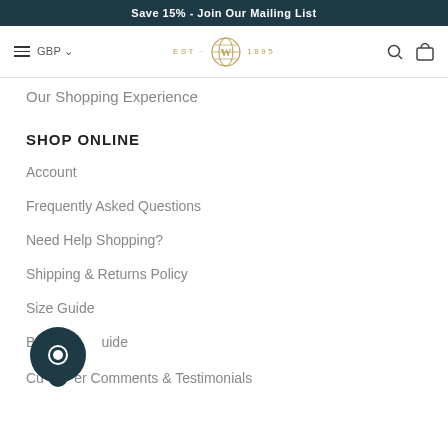Save 15% - Join Our Mailing List
[Figure (logo): Navigation bar with hamburger menu, GBP currency selector, EST. 1895 logo emblem, search icon, and cart icon]
Our Shopping Experience
SHOP ONLINE
Account
Frequently Asked Questions
Need Help Shopping?
Shipping & Returns Policy
Size Guide
Buyer Guide
Customer Comments & Testimonials